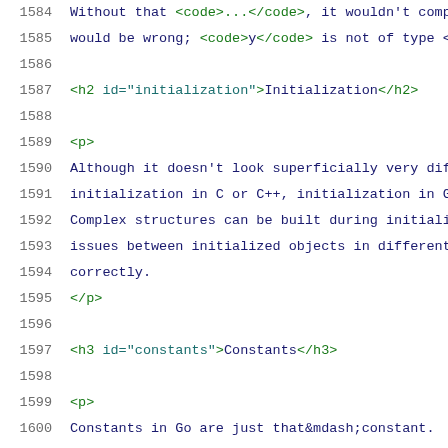1584   Without that <code>...</code>, it wouldn't comp
1585   would be wrong; <code>y</code> is not of type <
1586
1587   <h2 id="initialization">Initialization</h2>
1588
1589   <p>
1590   Although it doesn't look superficially very dif
1591   initialization in C or C++, initialization in G
1592   Complex structures can be built during initiali
1593   issues between initialized objects in different
1594   correctly.
1595   </p>
1596
1597   <h3 id="constants">Constants</h3>
1598
1599   <p>
1600   Constants in Go are just that&mdash;constant.
1601   They are created at compile time, even when def
1602   locals in functions,
1603   and can only be numbers, strings or booleans.
1604   Because of the compile-time restriction, the ex
1605   that define them must be constant expressions,